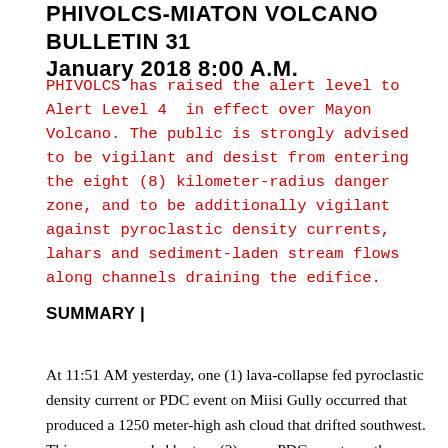PHIVOLCS-MIATON VOLCANO BULLETIN 31 January 2018 8:00 A.M.
PHIVOLCS has raised the alert level to Alert Level 4  in effect over Mayon Volcano. The public is strongly advised to be vigilant and desist from entering the eight (8) kilometer-radius danger zone, and to be additionally vigilant against pyroclastic density currents, lahars and sediment-laden stream flows along channels draining the edifice.
SUMMARY |
At 11:51 AM yesterday, one (1) lava-collapse fed pyroclastic density current or PDC event on Miisi Gully occurred that produced a 1250 meter-high ash cloud that drifted southwest. This was succeeded by two (2) more PDC events on the Basud Gully that lasted until 12:09 PM and